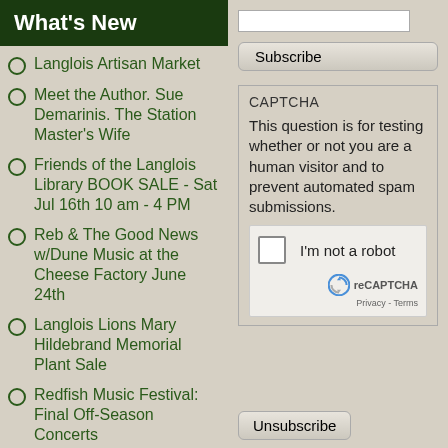What's New
Langlois Artisan Market
Meet the Author. Sue Demarinis. The Station Master's Wife
Friends of the Langlois Library BOOK SALE - Sat Jul 16th 10 am - 4 PM
Reb & The Good News w/Dune Music at the Cheese Factory June 24th
Langlois Lions Mary Hildebrand Memorial Plant Sale
Redfish Music Festival: Final Off-Season Concerts
Subscribe
CAPTCHA
This question is for testing whether or not you are a human visitor and to prevent automated spam submissions.
[Figure (screenshot): reCAPTCHA widget with checkbox labeled 'I'm not a robot' and reCAPTCHA logo with Privacy and Terms links]
Unsubscribe